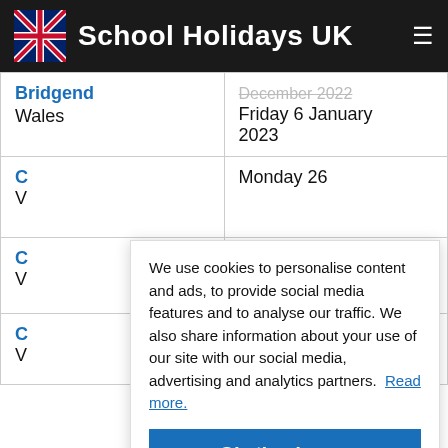School Holidays UK
| School | Dates |
| --- | --- |
| Bridgend
Wales | December 2022
Friday 6 January 2023 |
| C
V | Monday 26 |
| C
V |  |
| C
V | 2023 |
We use cookies to personalise content and ads, to provide social media features and to analyse our traffic. We also share information about your use of our site with our social media, advertising and analytics partners. Read more.
Ok, thank you.